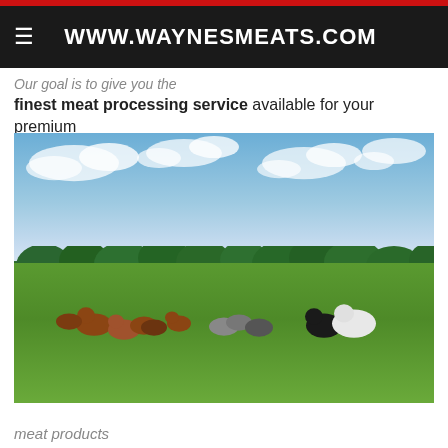WWW.WAYNESMEATS.COM
Our goal is to give you the finest meat processing service available for your premium
[Figure (photo): Cattle grazing in a green field with trees in the background and a partly cloudy blue sky]
meat products